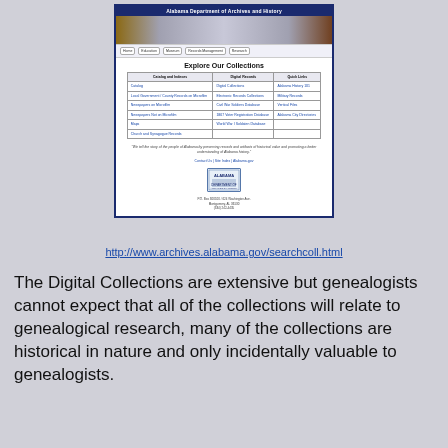[Figure (screenshot): Screenshot of Alabama Department of Archives and History website showing 'Explore Our Collections' page with navigation bar, banner image, and a table with Catalog and Indexes, Digital Records, and Quick Links columns]
http://www.archives.alabama.gov/searchcoll.html
The Digital Collections are extensive but genealogists cannot expect that all of the collections will relate to genealogical research, many of the collections are historical in nature and only incidentally valuable to genealogists.